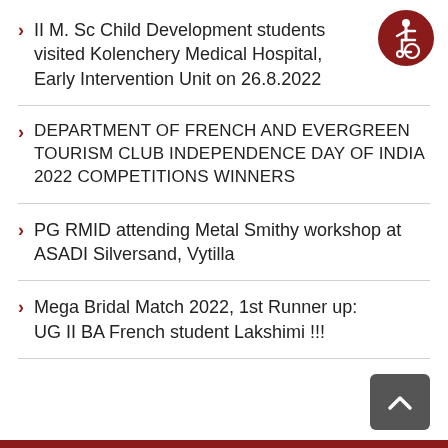II M. Sc Child Development students visited Kolenchery Medical Hospital, Early Intervention Unit on 26.8.2022
DEPARTMENT OF FRENCH AND EVERGREEN TOURISM CLUB INDEPENDENCE DAY OF INDIA 2022 COMPETITIONS WINNERS
PG RMID attending Metal Smithy workshop at ASADI Silversand, Vytilla
Mega Bridal Match 2022, 1st Runner up: UG II BA French student Lakshimi !!!